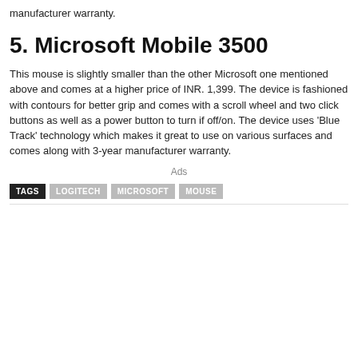manufacturer warranty.
5. Microsoft Mobile 3500
This mouse is slightly smaller than the other Microsoft one mentioned above and comes at a higher price of INR. 1,399. The device is fashioned with contours for better grip and comes with a scroll wheel and two click buttons as well as a power button to turn if off/on. The device uses ‘Blue Track’ technology which makes it great to use on various surfaces and comes along with 3-year manufacturer warranty.
Ads
TAGS  LOGITECH  MICROSOFT  MOUSE